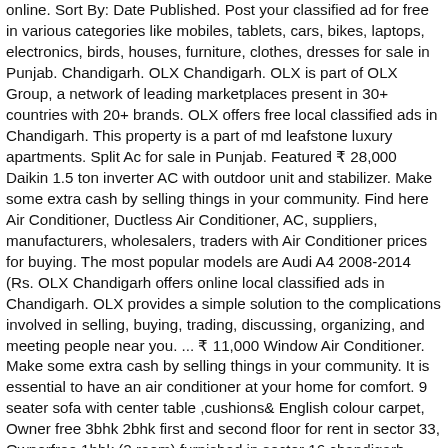online. Sort By: Date Published. Post your classified ad for free in various categories like mobiles, tablets, cars, bikes, laptops, electronics, birds, houses, furniture, clothes, dresses for sale in Punjab. Chandigarh. OLX Chandigarh. OLX is part of OLX Group, a network of leading marketplaces present in 30+ countries with 20+ brands. OLX offers free local classified ads in Chandigarh. This property is a part of md leafstone luxury apartments. Split Ac for sale in Punjab. Featured ₹ 28,000 Daikin 1.5 ton inverter AC with outdoor unit and stabilizer. Make some extra cash by selling things in your community. Find here Air Conditioner, Ductless Air Conditioner, AC, suppliers, manufacturers, wholesalers, traders with Air Conditioner prices for buying. The most popular models are Audi A4 2008-2014 (Rs. OLX Chandigarh offers online local classified ads in Chandigarh. OLX provides a simple solution to the complications involved in selling, buying, trading, discussing, organizing, and meeting people near you. ... ₹ 11,000 Window Air Conditioner. Make some extra cash by selling things in your community. It is essential to have an air conditioner at your home for comfort. 9 seater sofa with center table ,cushions& English colour carpet, Owner free 3bhk 2bhk first and second floor for rent in sector 33, Ownerfree 1bhk (2 room) furnished in sector 16 chandigarh, Solar civil work and electrical ac sarvice cameras install, Brand New 2bhk Ground Floor Fully Furnished, Gift Decorative Gift Item- Wall hanging Customised Woden Palet, Tata Safari 4x2 EX DICOR BS-IV, 2016, Diesel, Genuine driven all original with 18inch alloys. 17 February 2021: Check Latest Used Bikes in